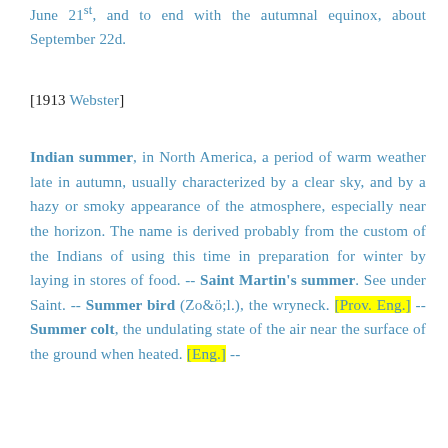June 21st, and to end with the autumnal equinox, about September 22d.
[1913 Webster]
Indian summer, in North America, a period of warm weather late in autumn, usually characterized by a clear sky, and by a hazy or smoky appearance of the atmosphere, especially near the horizon. The name is derived probably from the custom of the Indians of using this time in preparation for winter by laying in stores of food. -- Saint Martin's summer. See under Saint. -- Summer bird (Zo&ö;l.), the wryneck. [Prov. Eng.] -- Summer colt, the undulating state of the air near the surface of the ground when heated. [Eng.] --